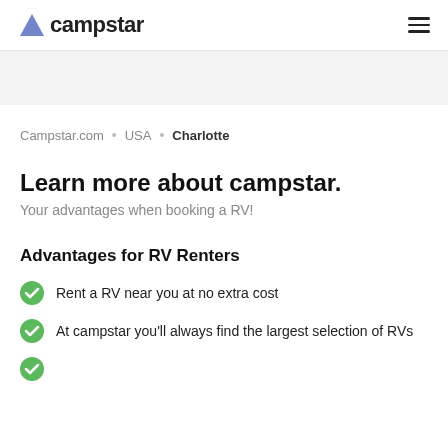campstar
Campstar.com • USA • Charlotte
Learn more about campstar.
Your advantages when booking a RV!
Advantages for RV Renters
Rent a RV near you at no extra cost
At campstar you'll always find the largest selection of RVs